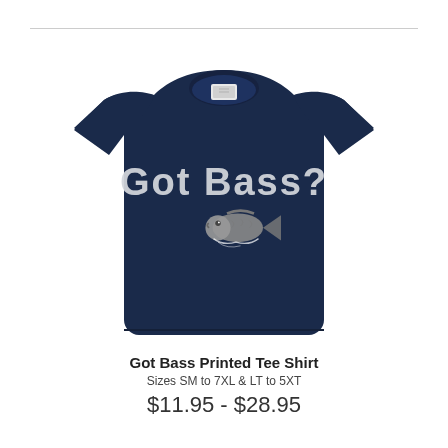[Figure (photo): A navy blue t-shirt with 'Got Bass?' printed in white distressed lettering and a bass fish graphic below the text.]
Got Bass Printed Tee Shirt
Sizes SM to 7XL & LT to 5XT
$11.95 - $28.95